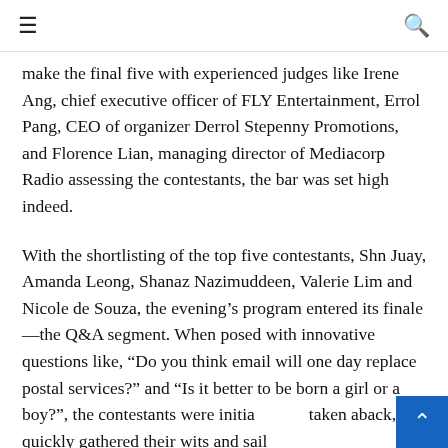≡  🔍
make the final five with experienced judges like Irene Ang, chief executive officer of FLY Entertainment, Errol Pang, CEO of organizer Derrol Stepenny Promotions, and Florence Lian, managing director of Mediacorp Radio assessing the contestants, the bar was set high indeed.
With the shortlisting of the top five contestants, Shn Juay, Amanda Leong, Shanaz Nazimuddeen, Valerie Lim and Nicole de Souza, the evening's program entered its finale—the Q&A segment. When posed with innovative questions like, “Do you think email will one day replace postal services?” and “Is it better to be born a girl or a boy?”, the contestants were initially taken aback, but quickly gathered their wits and sail…